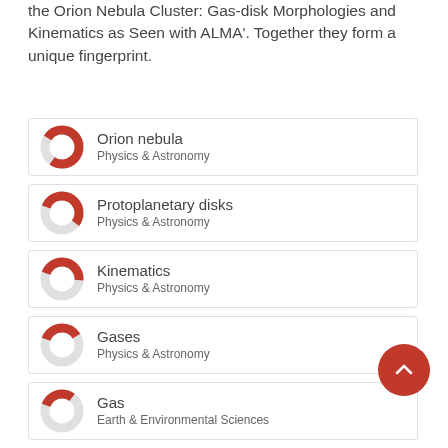the Orion Nebula Cluster: Gas-disk Morphologies and Kinematics as Seen with ALMA'. Together they form a unique fingerprint.
Orion nebula — Physics & Astronomy
Protoplanetary disks — Physics & Astronomy
Kinematics — Physics & Astronomy
Gases — Physics & Astronomy
Gas — Earth & Environmental Sciences
Dust